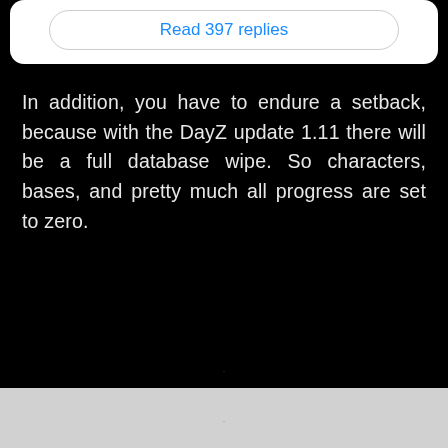Read 397 replies
In addition, you have to endure a setback, because with the DayZ update 1.11 there will be a full database wipe. So characters, bases, and pretty much all progress are set to zero.